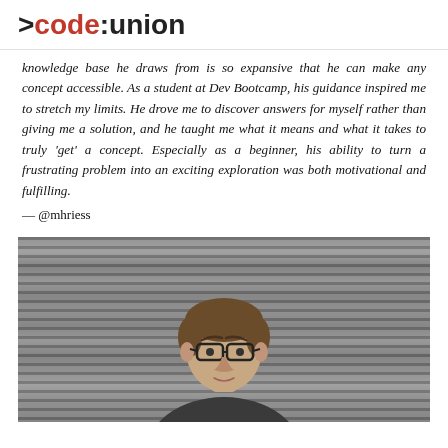>code:union
knowledge base he draws from is so expansive that he can make any concept accessible. As a student at Dev Bootcamp, his guidance inspired me to stretch my limits. He drove me to discover answers for myself rather than giving me a solution, and he taught me what it means and what it takes to truly 'get' a concept. Especially as a beginner, his ability to turn a frustrating problem into an exciting exploration was both motivational and fulfilling.
— @mhriess
[Figure (photo): A man with glasses and short brown hair photographed in front of a corrugated metal shutter background, cropped at the top of the frame.]